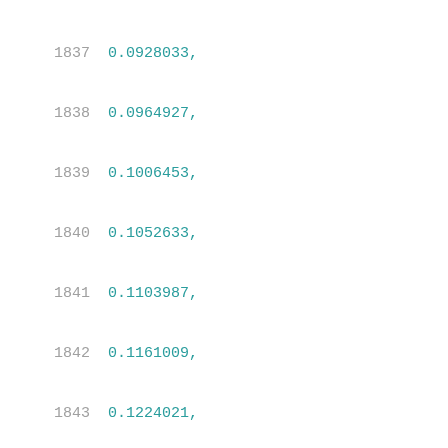1837    0.0928033,
1838    0.0964927,
1839    0.1006453,
1840    0.1052633,
1841    0.1103987,
1842    0.1161009,
1843    0.1224021,
1844    0.1293465,
1845    0.1368693,
1846    0.1452824,
1847    0.1549916,
1848    0.1649169,
1849    0.1759154,
1850    0.1892296,
1851    0.205205,
1852    0.2246431,
1853    0.2478322,
1854    0.2756476,
1855    0.3088586,
1856    0.3485482,
1857    0.3970348,
1858    0.4543358,